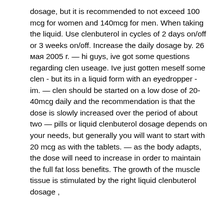dosage, but it is recommended to not exceed 100 mcg for women and 140mcg for men. When taking the liquid. Use clenbuterol in cycles of 2 days on/off or 3 weeks on/off. Increase the daily dosage by. 26 мая 2005 г. — hi guys, ive got some questions regarding clen useage. Ive just gotten meself some clen - but its in a liquid form with an eyedropper - im. — clen should be started on a low dose of 20-40mcg daily and the recommendation is that the dose is slowly increased over the period of about two — pills or liquid clenbuterol dosage depends on your needs, but generally you will want to start with 20 mcg as with the tablets. — as the body adapts, the dose will need to increase in order to maintain the full fat loss benefits. The growth of the muscle tissue is stimulated by the right liquid clenbuterol dosage ,